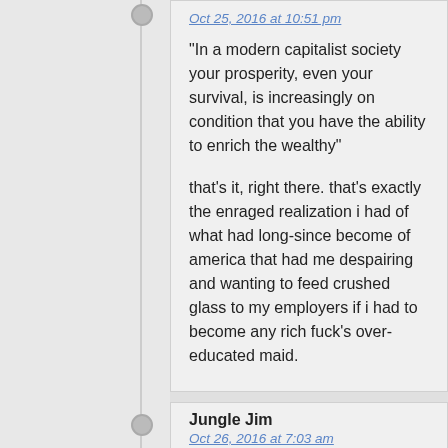Oct 25, 2016 at 10:51 pm
“In a modern capitalist society your prosperity, even your survival, is increasingly on condition that you have the ability to enrich the wealthy”
that’s it, right there. that’s exactly the enraged realization i had of what had long-since become of america that had me despairing and wanting to feed crushed glass to my employers if i had to become any rich fuck’s over-educated maid.
Jungle Jim
Oct 26, 2016 at 7:03 am